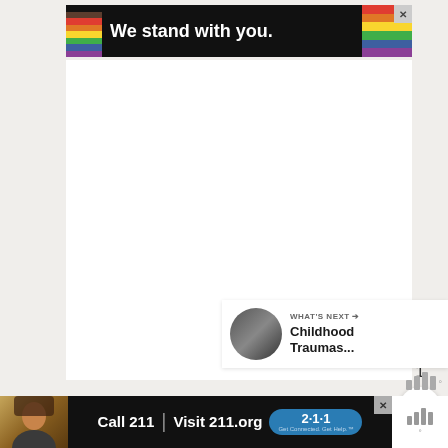[Figure (infographic): Advertisement banner with pride flag stripes on left, text 'We stand with you.' in white on black background, rainbow color bars on right, and close (X) button in top right corner]
[Figure (screenshot): Large white blank content area (main article body area)]
[Figure (infographic): Heart/like button (teal circle with heart icon), count '1', and share button (white circle with share icon) in right sidebar]
1
[Figure (infographic): What's Next panel with circular thumbnail photo, label 'WHAT'S NEXT →', and title 'Childhood Traumas...']
[Figure (logo): Wealthsimple logo bars with degree symbol]
[Figure (infographic): Bottom advertisement bar: woman photo on left, 'Call 211 | Visit 211.org' text with 2·1·1 badge, close button]
[Figure (logo): Wealthsimple logo bars with degree symbol on bottom right]